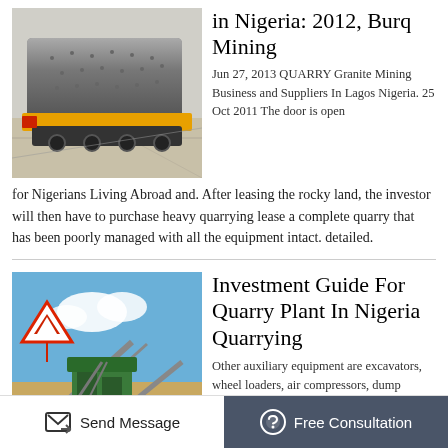[Figure (photo): Industrial mining equipment - large cylindrical mill on a truck/transport vehicle, photographed outdoors]
in Nigeria: 2012, Burq Mining
Jun 27, 2013 QUARRY Granite Mining Business and Suppliers In Lagos Nigeria. 25 Oct 2011 The door is open for Nigerians Living Abroad and. After leasing the rocky land, the investor will then have to purchase heavy quarrying lease a complete quarry that has been poorly managed with all the equipment intact. detailed.
[Figure (photo): Quarry plant in Nigeria - green heavy machinery/crusher equipment on a construction site with blue sky background and a red triangular warning sign with mountain symbol]
Investment Guide For Quarry Plant In Nigeria Quarrying
Other auxiliary equipment are excavators, wheel loaders, air compressors, dump trucks, generators and truck scales. According to local market conditions, most of Nigeria's quarries are large and medium-sized
Send Message   Free Consultation